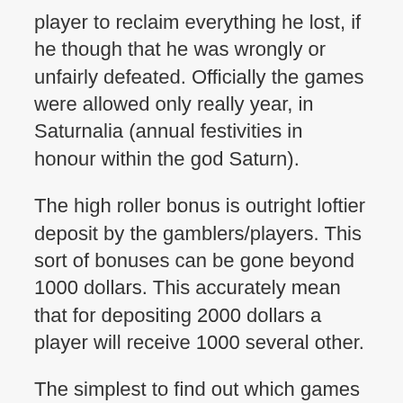player to reclaim everything he lost, if he though that he was wrongly or unfairly defeated. Officially the games were allowed only really year, in Saturnalia (annual festivities in honour within the god Saturn).
The high roller bonus is outright loftier deposit by the gamblers/players. This sort of bonuses can be gone beyond 1000 dollars. This accurately mean that for depositing 2000 dollars a player will receive 1000 several other.
The simplest to find out which games suit you the best would download your favorite site’s online casino software and start playing. When don’t need to download the software, you’re able usually access a smaller selection of your site’s games directly your internet via Flash. So find a table or slots game that draws you it’s essential to playing!